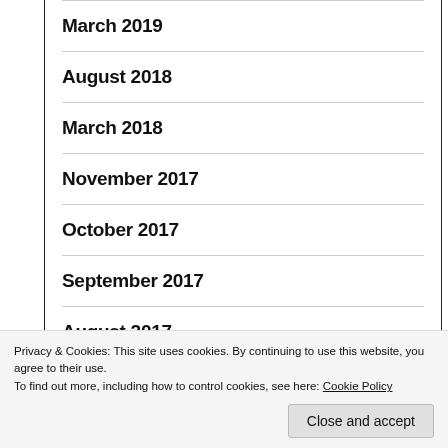March 2019
August 2018
March 2018
November 2017
October 2017
September 2017
August 2017
Privacy & Cookies: This site uses cookies. By continuing to use this website, you agree to their use.
To find out more, including how to control cookies, see here: Cookie Policy
Close and accept